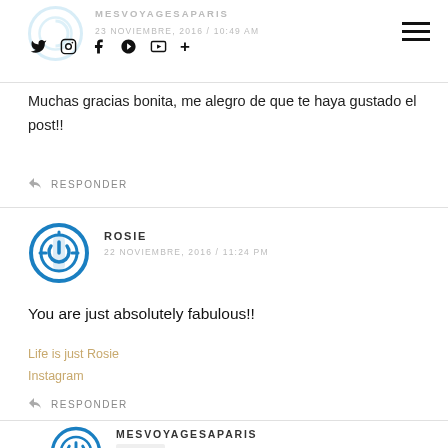MESVOYAGESAPARIS 23 NOVIEMBRE, 2016 / 10:49 AM
Muchas gracias bonita, me alegro de que te haya gustado el post!!
↩ RESPONDER
ROSIE
22 NOVIEMBRE, 2016 / 11:24 PM
You are just absolutely fabulous!!
Life is just Rosie
Instagram
↩ RESPONDER
MESVOYAGESAPARIS
AUTOR
23 NOVIEMBRE, 2016 / 10:48 AM